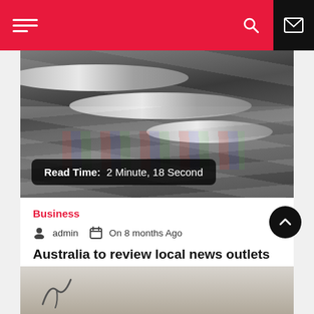Navigation bar with hamburger menu, moon icon, search icon, and email icon
[Figure (photo): Close-up photograph of a printing press with metal cylinders and sheets of paper moving through the machinery. Overlay badge reads: Read Time: 2 Minute, 18 Second]
Read Time:  2 Minute, 18 Second
Business
admin  On 8 months Ago
Australia to review local news outlets
[Figure (photo): Partial view of a second article card with a light grey/beige background and a bird silhouette]